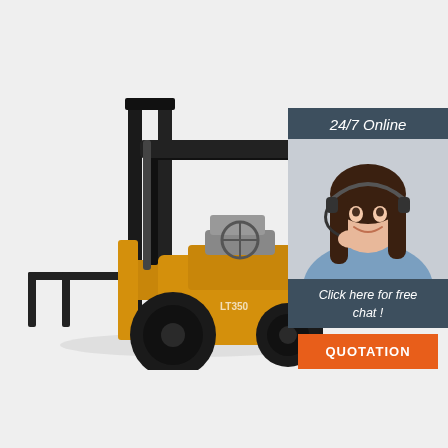[Figure (illustration): A yellow and black forklift truck facing left, shown in side/three-quarter view with forks extended forward, on a light grey background.]
24/7 Online
[Figure (photo): A smiling young woman with dark hair wearing a headset, representing an online customer service agent, in a blue shirt.]
Click here for free chat !
QUOTATION